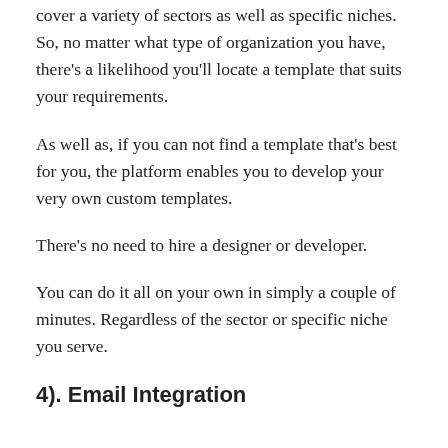cover a variety of sectors as well as specific niches. So, no matter what type of organization you have, there's a likelihood you'll locate a template that suits your requirements.
As well as, if you can not find a template that's best for you, the platform enables you to develop your very own custom templates.
There's no need to hire a designer or developer.
You can do it all on your own in simply a couple of minutes. Regardless of the sector or specific niche you serve.
4). Email Integration